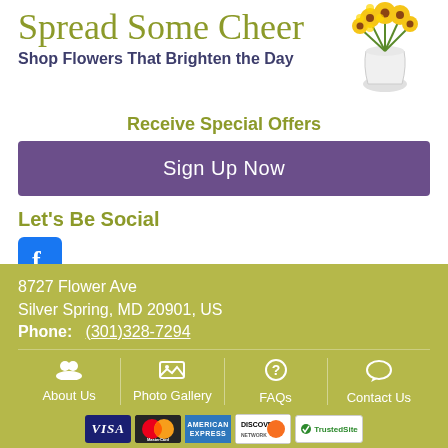Spread Some Cheer
Shop Flowers That Brighten the Day
[Figure (photo): Yellow flowers in a white vase]
Receive Special Offers
Sign Up Now
Let's Be Social
[Figure (logo): Facebook icon]
8727 Flower Ave
Silver Spring, MD 20901, US
Phone: (301)328-7294
About Us | Photo Gallery | FAQs | Contact Us
[Figure (logo): Payment cards: VISA, MasterCard, American Express, Discover; TrustedSite badge]